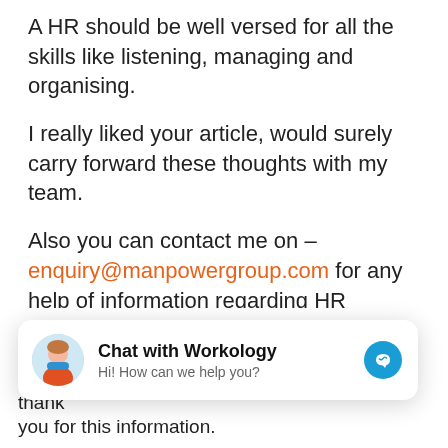A HR should be well versed for all the skills like listening, managing and organising.
I really liked your article, would surely carry forward these thoughts with my team.
Also you can contact me on – enquiry@manpowergroup.com for any help of information regarding HR outsourcing.
job agency says
January 16, 2019 at 4:40 am
[Figure (screenshot): Chat with Workology widget overlay showing avatar, title 'Chat with Workology', subtitle 'Hi! How can we help you?' and Messenger icon]
the way you explained the topic is simply super. thank you for this information.